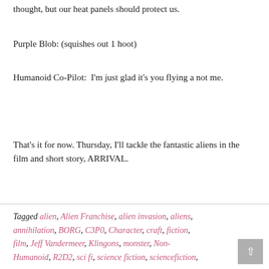thought, but our heat panels should protect us.
Purple Blob: (squishes out 1 hoot)
Humanoid Co-Pilot:  I'm just glad it's you flying a not me.
That's it for now. Thursday, I'll tackle the fantastic aliens in the film and short story, ARRIVAL.
Tagged alien, Alien Franchise, alien invasion, aliens, annihilation, BORG, C3P0, Character, craft, fiction, film, Jeff Vandermeer, Klingons, monster, Non-Humanoid, R2D2, sci fi, science fiction, sciencefiction,